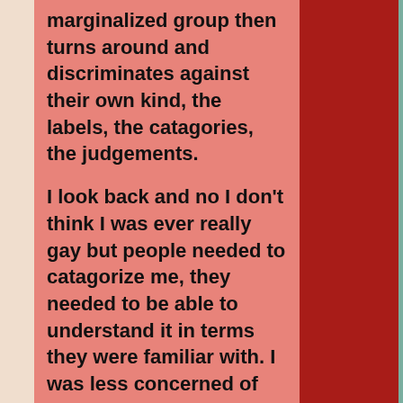marginalized group then turns around and discriminates against their own kind, the labels, the catagories, the judgements.

I look back and no I don't think I was ever really gay but people needed to catagorize me, they needed to be able to understand it in terms they were familiar with. I was less concerned of being identified as gay, I